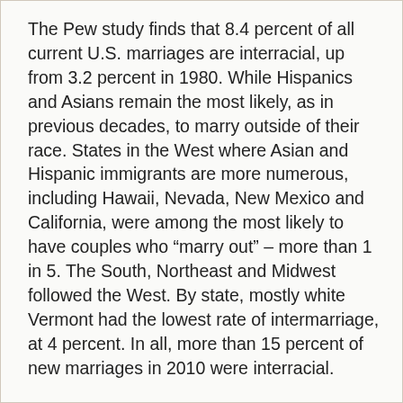The Pew study finds that 8.4 percent of all current U.S. marriages are interracial, up from 3.2 percent in 1980. While Hispanics and Asians remain the most likely, as in previous decades, to marry outside of their race. States in the West where Asian and Hispanic immigrants are more numerous, including Hawaii, Nevada, New Mexico and California, were among the most likely to have couples who “marry out” – more than 1 in 5. The South, Northeast and Midwest followed the West. By state, mostly white Vermont had the lowest rate of intermarriage, at 4 percent. In all, more than 15 percent of new marriages in 2010 were interracial.
The numbers also coincide with Pew survey data showing greater public acceptance of mixed marriage, coming nearly half a century after the Supreme Court in 1967 barred race-based restrictions on marriage. About 83 percent of Americans say it is “all right for blacks and